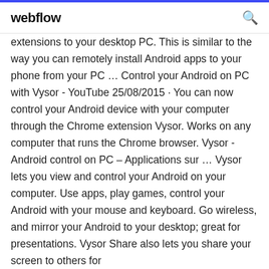webflow
extensions to your desktop PC. This is similar to the way you can remotely install Android apps to your phone from your PC … Control your Android on PC with Vysor - YouTube 25/08/2015 · You can now control your Android device with your computer through the Chrome extension Vysor. Works on any computer that runs the Chrome browser. Vysor - Android control on PC – Applications sur … Vysor lets you view and control your Android on your computer. Use apps, play games, control your Android with your mouse and keyboard. Go wireless, and mirror your Android to your desktop; great for presentations. Vysor Share also lets you share your screen to others for